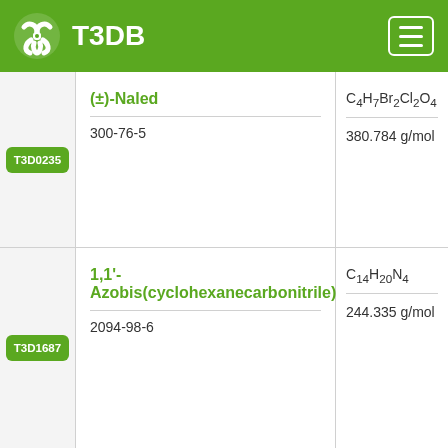T3DB
| ID | Name / CAS | Formula / MW |
| --- | --- | --- |
| T3D0235 | (±)-Naled
300-76-5 | C4H7Br2Cl2O4
380.784 g/mol |
| T3D1687 | 1,1'-Azobis(cyclohexanecarbonitrile)
2094-98-6 | C14H20N4
244.335 g/mol |